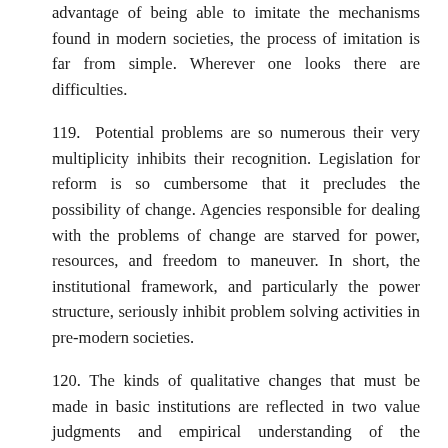advantage of being able to imitate the mechanisms found in modern societies, the process of imitation is far from simple. Wherever one looks there are difficulties.
119. Potential problems are so numerous their very multiplicity inhibits their recognition. Legislation for reform is so cumbersome that it precludes the possibility of change. Agencies responsible for dealing with the problems of change are starved for power, resources, and freedom to maneuver. In short, the institutional framework, and particularly the power structure, seriously inhibit problem solving activities in pre-modern societies.
120. The kinds of qualitative changes that must be made in basic institutions are reflected in two value judgments and empirical understanding of the workings of social systems. According to the first value judgment, indigenous ability to maintain a continually rising income in per capita terms is